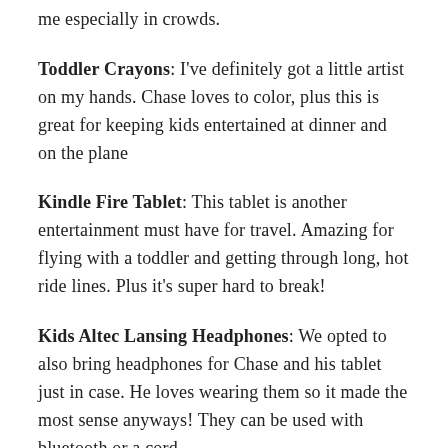me especially in crowds.
Toddler Crayons: I've definitely got a little artist on my hands. Chase loves to color, plus this is great for keeping kids entertained at dinner and on the plane
Kindle Fire Tablet: This tablet is another entertainment must have for travel. Amazing for flying with a toddler and getting through long, hot ride lines. Plus it's super hard to break!
Kids Altec Lansing Headphones: We opted to also bring headphones for Chase and his tablet just in case. He loves wearing them so it made the most sense anyways! They can be used with bluetooth or a cord.